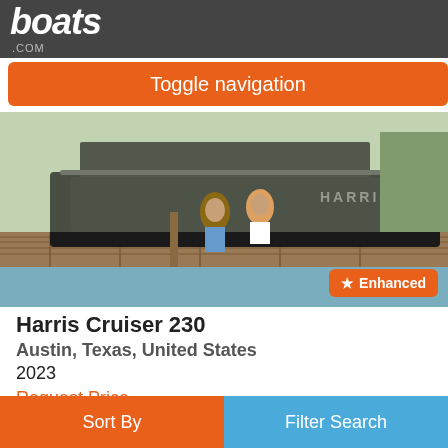boats.com
Toggle navigation
[Figure (photo): Two people sitting on a dock next to a Harris pontoon boat at a marina. The boat has 'HARRIS' branding visible on the hull.]
Harris Cruiser 230
Austin, Texas, United States
2023
Request Price
Cruiser is a sporty series of versatile pontoons that deliver a smooth ride, a wide selection of layouts, and classic comfort and style features. Entertain your friends, escape to your happy place, and find your ideal fishing spot on the classic Cruiser, a pontoon for everyone.
Sort By   Filter Search